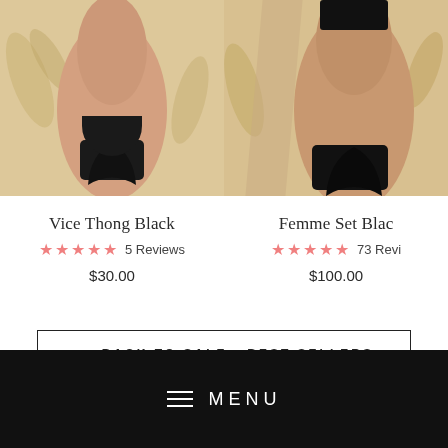[Figure (photo): Product photo of Vice Thong Black lingerie item, model wearing black thong, gold floral backdrop]
Vice Thong Black
★★★★★  5 Reviews
$30.00
[Figure (photo): Product photo of Femme Set Black lingerie set, model wearing black set, gold floral backdrop, partially cropped]
Femme Set Black
★★★★★  73 Reviews
$100.00
← BACK TO SALE - BEST SELLERS
≡  MENU